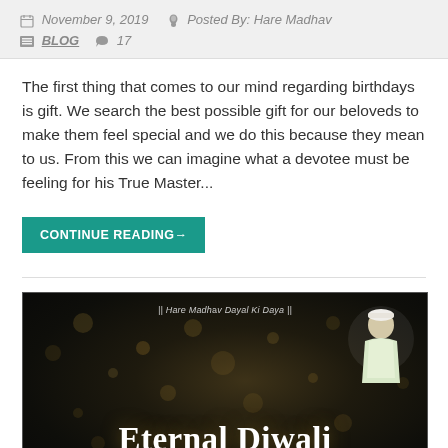November 9, 2019   Posted By: Hare Madhav   BLOG   17
The first thing that comes to our mind regarding birthdays is gift. We search the best possible gift for our beloveds to make them feel special and we do this because they mean to us. From this we can imagine what a devotee must be feeling for his True Master...
CONTINUE READING→
[Figure (photo): Dark bokeh background image with text 'Eternal Diwali' in white serif font, a person in white clothing and cap on the upper right, two candle flames at the bottom corners, and the caption '|| Hare Madhav Dayal Ki Daya ||' at the top center.]